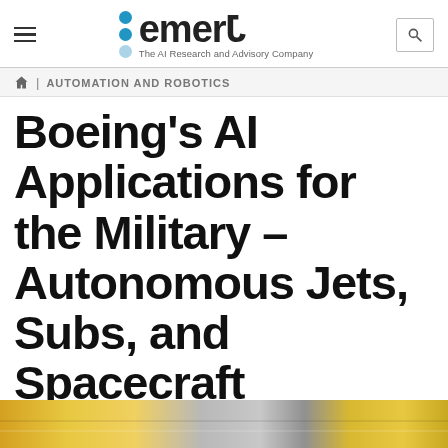emerJ — The AI Research and Advisory Company
AUTOMATION AND ROBOTICS
Boeing's AI Applications for the Military – Autonomous Jets, Subs, and Spacecraft
Share to:
[Figure (photo): Bottom image strip showing yellow/gold tones, likely a partial photo of a military or aerospace subject]